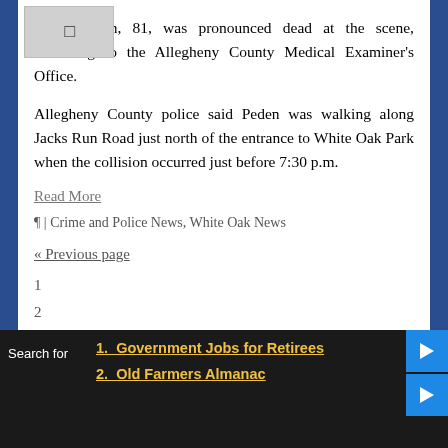Craig Peden, 81, was pronounced dead at the scene, according to the Allegheny County Medical Examiner's Office.
Allegheny County police said Peden was walking along Jacks Run Road just north of the entrance to White Oak Park when the collision occurred just before 7:30 p.m.
Read More
¶ | Crime and Police News, White Oak News
« Previous page
1
2
Search for
1. Government Jobs for Retirees
2. Old Farmers Almanac